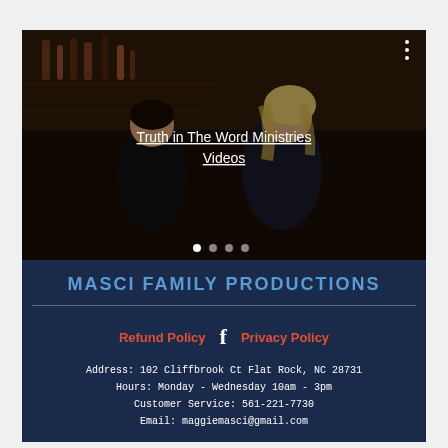[Figure (photo): Two women sitting at a bar/restaurant setting, dark moody lighting. One woman appears to be looking at something on a table. Bar shelves with bottles visible in background. White underlined text overlay reads 'Truth in The Word Ministries Videos'.]
Truth in The Word Ministries Videos
MASCI FAMILY PRODUCTIONS
Refund Policy  f  Privacy Policy
Address: 102 Cliffbrook Ct Flat Rock, NC 28731
Hours: Monday - Wednesday 10am - 3pm
Customer Service: 561-221-7730
Email: maggiemasci@gmail.com